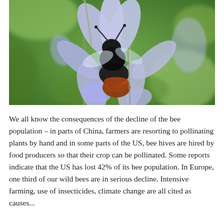[Figure (photo): Close-up photograph of a bumblebee with black and orange abdomen on lavender-blue bluebell flowers, with green blurred background]
We all know the consequences of the decline of the bee population – in parts of China, farmers are resorting to pollinating plants by hand and in some parts of the US, bee hives are hired by food producers so that their crop can be pollinated. Some reports indicate that the US has lost 42% of its bee population. In Europe, one third of our wild bees are in serious decline. Intensive farming, use of insecticides, climate change are all cited as causes...